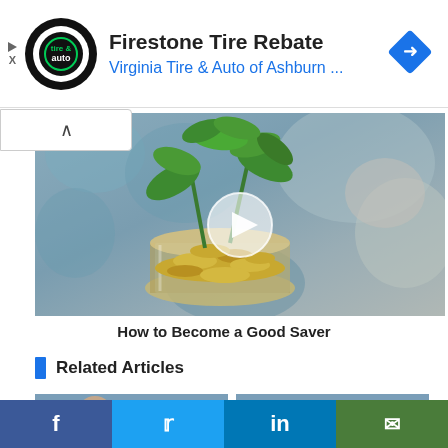[Figure (other): Advertisement banner: Virginia Tire & Auto of Ashburn – Firestone Tire Rebate. Shows circular black logo with 'tire & auto' text, and a blue diamond navigation icon on the right.]
[Figure (photo): Photo of a glass jar full of coins with a green plant sprouting from the coins, on a blurred blue/grey background. A circular play button overlay is centered on the image.]
How to Become a Good Saver
Related Articles
[Figure (photo): Two partially visible thumbnail images of related articles at the bottom of the page.]
f  y  in  ✉